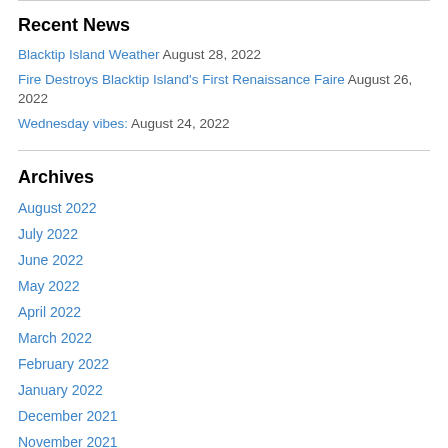Recent News
Blacktip Island Weather August 28, 2022
Fire Destroys Blacktip Island's First Renaissance Faire August 26, 2022
Wednesday vibes: August 24, 2022
Archives
August 2022
July 2022
June 2022
May 2022
April 2022
March 2022
February 2022
January 2022
December 2021
November 2021